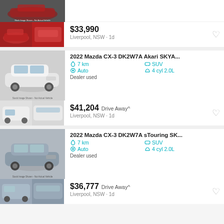[Figure (photo): Partial top of a red Mazda CX-3 listing card showing stock image placeholder and two thumbnail images]
$33,990
Liverpool, NSW · 1d
[Figure (photo): White 2022 Mazda CX-3 DK2W7A Akari SKYA... stock image placeholder]
2022 Mazda CX-3 DK2W7A Akari SKYA...
7 km · SUV · Auto · 4 cyl 2.0L
Dealer used
$41,204  Drive Away^
Liverpool, NSW · 1d
[Figure (photo): Grey 2022 Mazda CX-3 DK2W7A sTouring SK... stock image placeholder]
2022 Mazda CX-3 DK2W7A sTouring SK...
7 km · SUV · Auto · 4 cyl 2.0L
Dealer used
$36,777  Drive Away^
Liverpool, NSW · 1d